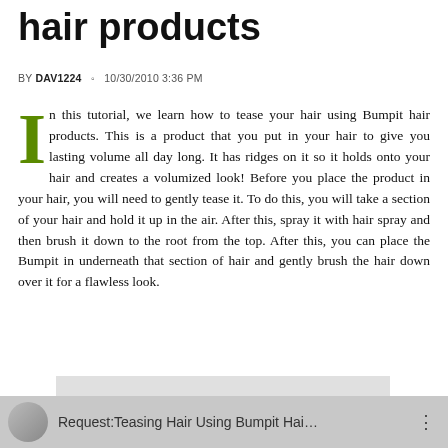hair products
BY DAV1224  10/30/2010 3:36 PM
In this tutorial, we learn how to tease your hair using Bumpit hair products. This is a product that you put in your hair to give you lasting volume all day long. It has ridges on it so it holds onto your hair and creates a volumized look! Before you place the product in your hair, you will need to gently tease it. To do this, you will take a section of your hair and hold it up in the air. After this, spray it with hair spray and then brush it down to the root from the top. After this, you can place the Bumpit in underneath that section of hair and gently brush the hair down over it for a flawless look.
[Figure (other): Gray placeholder rectangle for embedded video]
Request:Teasing Hair Using Bumpit Hai…